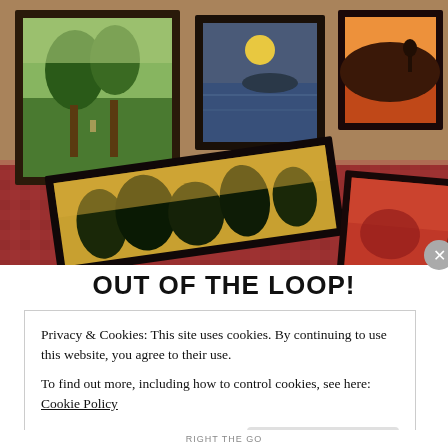[Figure (photo): Photo of multiple framed oil paintings displayed on a table with a patterned cloth. Paintings depict landscapes including green trees, a moon over water, a sunset over hills, and dark foliage. Dark wooden frames visible.]
OUT OF THE LOOP!
Privacy & Cookies: This site uses cookies. By continuing to use this website, you agree to their use.
To find out more, including how to control cookies, see here: Cookie Policy
Close and accept
RIGHT THE GO